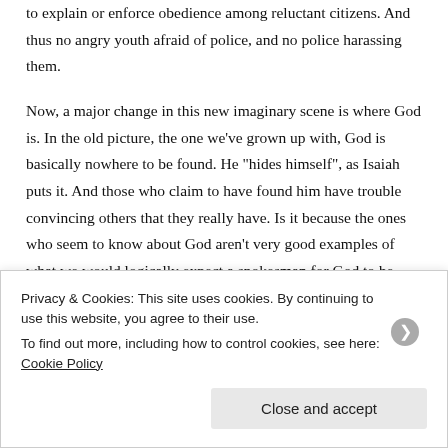to explain or enforce obedience among reluctant citizens. And thus no angry youth afraid of police, and no police harassing them.
Now, a major change in this new imaginary scene is where God is. In the old picture, the one we've grown up with, God is basically nowhere to be found. He “hides himself”, as Isaiah puts it. And those who claim to have found him have trouble convincing others that they really have. Is it because the ones who seem to know about God aren’t very good examples of what we would logically expect a spokesman for God to be — or is it because the people who they are preaching to…
Privacy & Cookies: This site uses cookies. By continuing to use this website, you agree to their use.
To find out more, including how to control cookies, see here: Cookie Policy